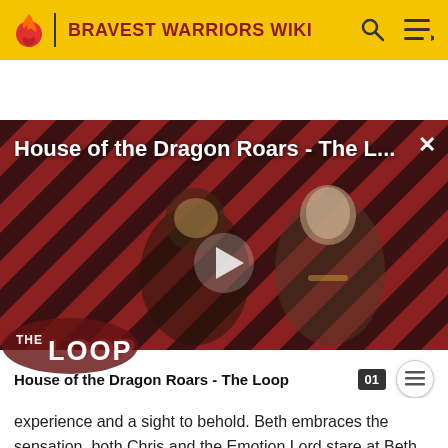BRAVEST WARRIORS WIKI
[Figure (screenshot): Video thumbnail for 'House of the Dragon Roars - The L...' showing two characters against a diagonal red-and-black striped background. A play button is overlaid in the center. 'THE LOOP' branding appears at the bottom left. A close (X) button is at the top right.]
House of the Dragon Roars - The Loop
experience and a sight to behold. Beth embraces the sensation, both Chris and the Emotion Lord stare at Beth and the Emotion Lord is crying. Chris questions what's